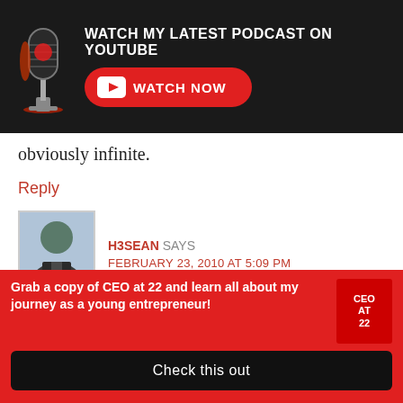[Figure (infographic): Dark banner with microphone icon on left, text 'WATCH MY LATEST PODCAST ON YOUTUBE' and a red rounded 'WATCH NOW' button with YouTube icon]
obviously infinite.
Reply
[Figure (photo): Avatar photo of H3SEAN, an Asian man in a suit]
H3SEAN SAYS
FEBRUARY 23, 2010 AT 5:09 PM
Good insight Roy.
I think there is no such thing as loving God too much. Because if you love Him and hold Him as your focus,
[Figure (infographic): Red bottom banner with CEO at 22 book promotion: 'Grab a copy of CEO at 22 and learn all about my journey as a young entrepreneur!' with a 'Check this out' button]